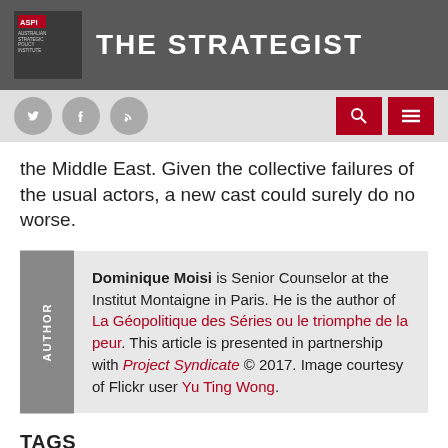THE STRATEGIST — Australian Strategic Policy Institute
the Middle East. Given the collective failures of the usual actors, a new cast could surely do no worse.
AUTHOR — Dominique Moisi is Senior Counselor at the Institut Montaigne in Paris. He is the author of La Géopolitique des Séries ou le triomphe de la peur. This article is presented in partnership with Project Syndicate © 2017. Image courtesy of Flickr user Yu Ting Wong.
TAGS
China
Cold War
Middle East
leadership